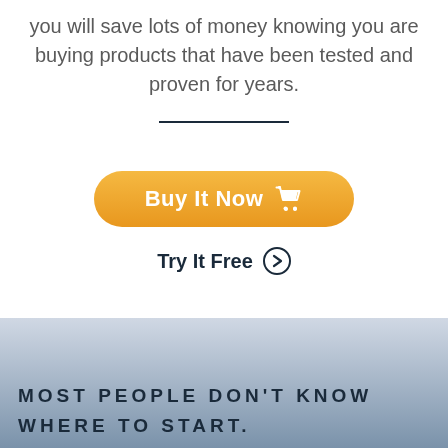you will save lots of money knowing you are buying products that have been tested and proven for years.
[Figure (infographic): Orange rounded 'Buy It Now' button with shopping cart icon]
Try It Free →
MOST PEOPLE DON'T KNOW WHERE TO START.